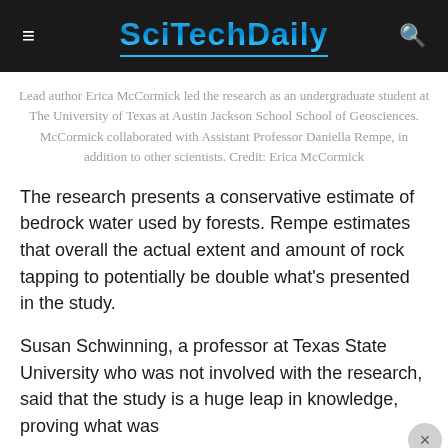SciTechDaily
Lead author Erica McCormick led the research as an undergraduate student at The University of Texas at Austin Jackson School School of Geosciences. McCormick collaborated with Assistant Professor Daniella Rempe, in addition to other scientists. Credit: Erica McCormick
The research presents a conservative estimate of bedrock water used by forests. Rempe estimates that overall the actual extent and amount of rock tapping to potentially be double what's presented in the study.
Susan Schwinning, a professor at Texas State University who was not involved with the research, said that the study is a huge leap in knowledge, proving what was